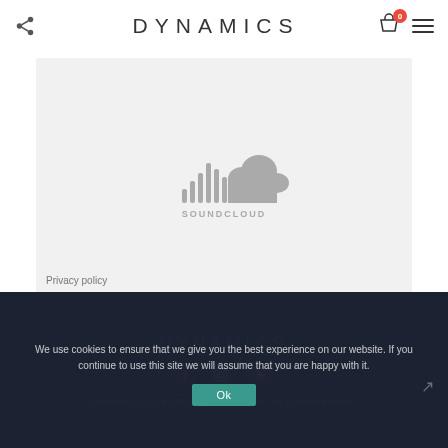DYNAMICS
[Figure (logo): SoundCloud embedded player placeholder showing SoundCloud logo and text on grey background with Privacy policy link]
Privacy policy
TAGS:   DNB
DYNAMICS
Copyright © 2020-2022 Dynamics Music. All rights reserved -
We use cookies to ensure that we give you the best experience on our website. If you continue to use this site we will assume that you are happy with it.